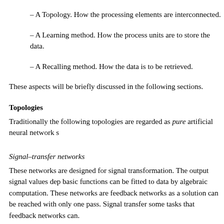– A Topology. How the processing elements are interconnected.
– A Learning method. How the process units are to store the data.
– A Recalling method. How the data is to be retrieved.
These aspects will be briefly discussed in the following sections.
Topologies
Traditionally the following topologies are regarded as pure artificial neural network s
Signal–transfer networks
These networks are designed for signal transformation. The output signal values dep basic functions can be fitted to data by algebraic computation. These networks are feedback networks as a solution can be reached with only one pass. Signal transfer some tasks that feedback networks can.
These are characterized by the lack of feedback. Single–layer forward networks are c
State–transfer networks